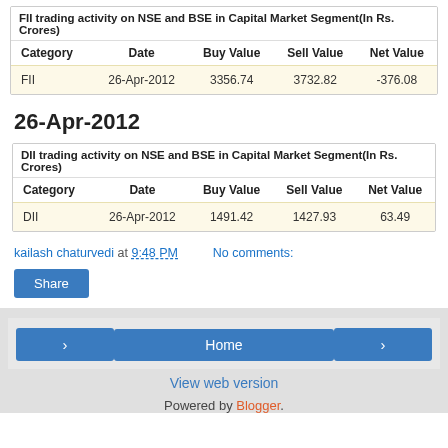| Category | Date | Buy Value | Sell Value | Net Value |
| --- | --- | --- | --- | --- |
| FII | 26-Apr-2012 | 3356.74 | 3732.82 | -376.08 |
26-Apr-2012
| Category | Date | Buy Value | Sell Value | Net Value |
| --- | --- | --- | --- | --- |
| DII | 26-Apr-2012 | 1491.42 | 1427.93 | 63.49 |
kailash chaturvedi at 9:48 PM    No comments:
Share
< Home > View web version Powered by Blogger.